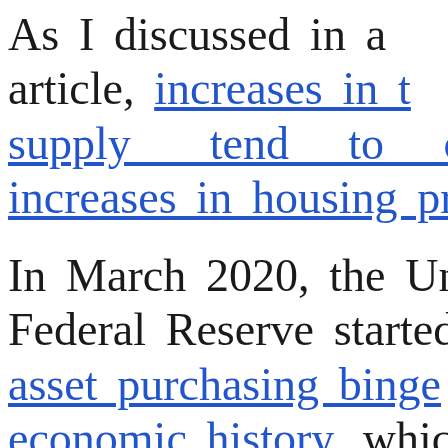As I discussed in a article, increases in the supply tend to come with increases in housing prices. In March 2020, the United States Federal Reserve started an asset purchasing binge in economic history, which caused a serious rally in equity